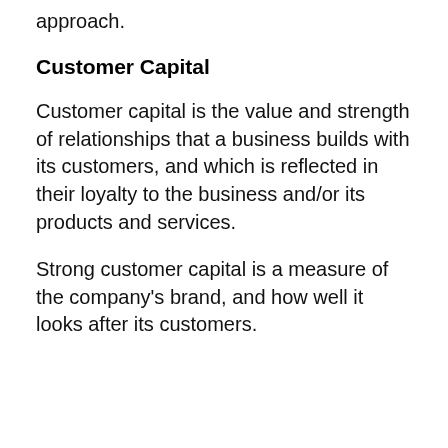approach.
Customer Capital
Customer capital is the value and strength of relationships that a business builds with its customers, and which is reflected in their loyalty to the business and/or its products and services.
Strong customer capital is a measure of the company's brand, and how well it looks after its customers.